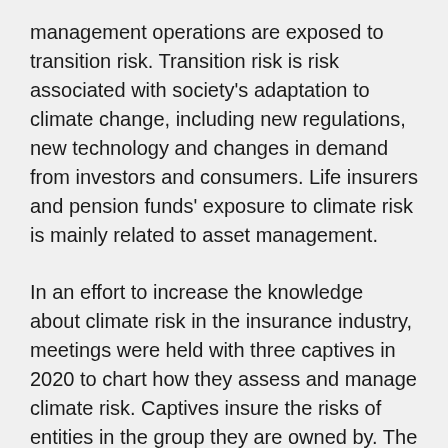management operations are exposed to transition risk. Transition risk is risk associated with society's adaptation to climate change, including new regulations, new technology and changes in demand from investors and consumers. Life insurers and pension funds' exposure to climate risk is mainly related to asset management.
In an effort to increase the knowledge about climate risk in the insurance industry, meetings were held with three captives in 2020 to chart how they assess and manage climate risk. Captives insure the risks of entities in the group they are owned by. The groups are international players and thus may be subject to risk in countries other than Norway. The charting process is a continuation of a project that was initiated in 2019 and is still ongoing. In 2019, the